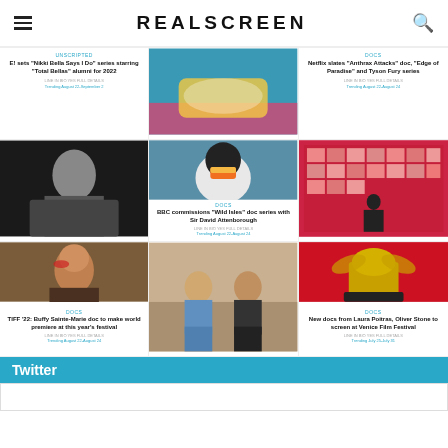REALSCREEN
[Figure (photo): Surfboard/water action shot]
E! sets "Nikki Bella Says I Do" series starring "Total Bellas" alumni for 2022
Netflix slates "Anthrax Attacks" doc, "Edge of Paradise" and Tyson Fury series
[Figure (photo): Black and white photo of male musician/artist]
[Figure (photo): Close-up photo of a puffin bird]
[Figure (photo): Person viewing large photo wall display]
BBC commissions "Wild Isles" doc series with Sir David Attenborough
[Figure (photo): Portrait of woman with red-tipped hair]
[Figure (photo): Two men sitting outside a building]
[Figure (photo): Golden lion statuette on red background (Venice Film Festival)]
TIFF '22: Buffy Sainte-Marie doc to make world premiere at this year's festival
New docs from Laura Poitras, Oliver Stone to screen at Venice Film Festival
Twitter